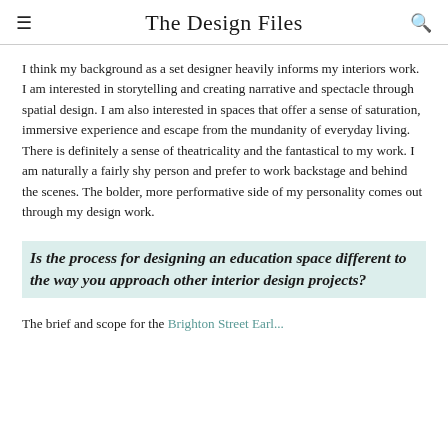The Design Files
I think my background as a set designer heavily informs my interiors work. I am interested in storytelling and creating narrative and spectacle through spatial design. I am also interested in spaces that offer a sense of saturation, immersive experience and escape from the mundanity of everyday living. There is definitely a sense of theatricality and the fantastical to my work. I am naturally a fairly shy person and prefer to work backstage and behind the scenes. The bolder, more performative side of my personality comes out through my design work.
Is the process for designing an education space different to the way you approach other interior design projects?
The brief and scope for the Brighton Street Earl... [continues]